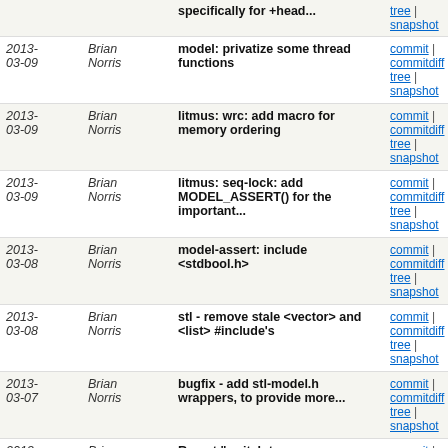| Date | Author | Commit Message | Links |
| --- | --- | --- | --- |
| 2013-03-09 | Brian Norris | model: privatize some thread functions | commit | commitdiff | tree | snapshot |
| 2013-03-09 | Brian Norris | litmus: wrc: add macro for memory ordering | commit | commitdiff | tree | snapshot |
| 2013-03-09 | Brian Norris | litmus: seq-lock: add MODEL_ASSERT() for the important... | commit | commitdiff | tree | snapshot |
| 2013-03-08 | Brian Norris | model-assert: include <stdbool.h> | commit | commitdiff | tree | snapshot |
| 2013-03-08 | Brian Norris | stl - remove stale <vector> and <list> #include's | commit | commitdiff | tree | snapshot |
| 2013-03-07 | Brian Norris | bugfix - add stl-model.h wrappers, to provide more... | commit | commitdiff | tree | snapshot |
| 2013-03-07 | Brian Norris | Revert "switch to snapshot/modelalloc versions of stl..." | commit | commitdiff | tree | snapshot |
| 2013-03-07 | Brian Demsky | switch to snapshot/modelalloc versions of stl classes | commit | commitdiff | tree | snapshot |
| 2013-03-07 | Brian Demsky | add new option for uninitialized writes... | commit | commitdiff | tree | snapshot |
| 2013-03-07 | Brian Norris | model, nodestack: bugfix - retain UNINIT actions across... | commit | commitdiff | tree | snapshot |